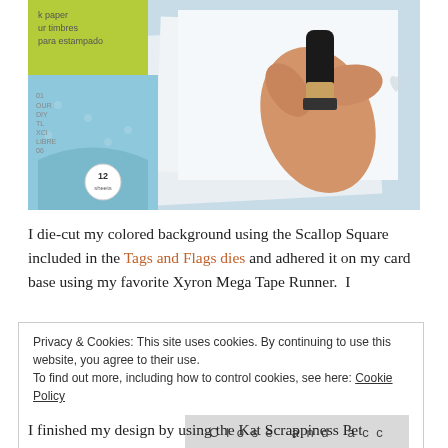[Figure (photo): A hand holding a rubber stamp over white card stock paper, with blue patterned paper and green paper with text visible in the background. A circular label '12 sheets' is visible on the blue paper.]
I die-cut my colored background using the Scallop Square included in the Tags and Flags dies and adhered it on my card base using my favorite Xyron Mega Tape Runner.  I
Privacy & Cookies: This site uses cookies. By continuing to use this website, you agree to their use.
To find out more, including how to control cookies, see here: Cookie Policy
Close and accept
I finished my design by using the Kat Scrappiness Pet